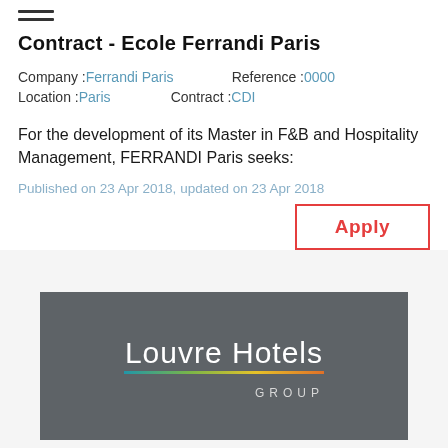Contract - Ecole Ferrandi Paris
Company : Ferrandi Paris   Reference : 0000
Location : Paris   Contract : CDI
For the development of its Master in F&B and Hospitality Management, FERRANDI Paris seeks:
Published on 23 Apr 2018, updated on 23 Apr 2018
Apply
[Figure (logo): Louvre Hotels Group logo on grey background with multicolor horizontal bar]